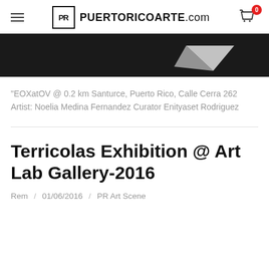PUERTORICOARTE.com
[Figure (photo): Dark/black background image with a white angular shape resembling a checkmark or arrow in the upper right portion]
“EOXatOV @ 0.2 km Santurce, Puerto Rico, Calle Cerra 262 Artist: Noelia Medina Fernandez Curator Enityaset Rodriguez
Terricolas Exhibition @ Art Lab Gallery-2016
Rem / 01/06/2016 / PR Art Scene